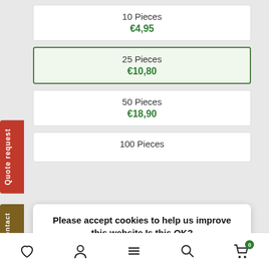10 Pieces €4,95
25 Pieces €10,80
50 Pieces €18,90
100 Pieces
Please accept cookies to help us improve this website Is this OK?
Yes
No
More on cookies »
€98.55
♡  👤  ≡  🔍  🛒 0